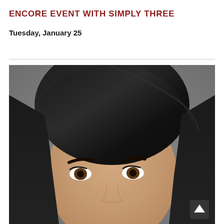ENCORE EVENT WITH SIMPLY THREE
Tuesday, January 25
[Figure (photo): Close-up headshot of a woman with dark shoulder-length hair, dark eyebrows, and brown eyes against a gray background. Only the upper half of her face and head are visible.]